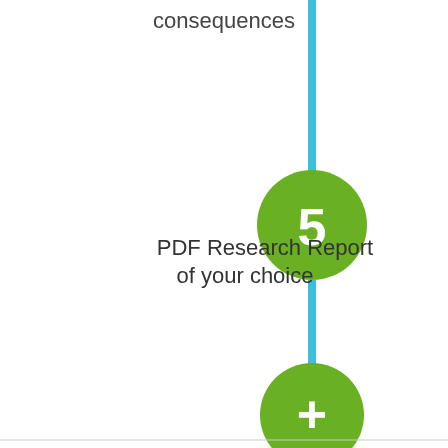[Figure (flowchart): A vertical timeline/flowchart showing step 5 labeled 'PDF Research Report of your choice' with a green circle numbered 5 on a blue vertical line, and a green circle with a plus sign below it. The word 'consequences' appears at the top right near the line.]